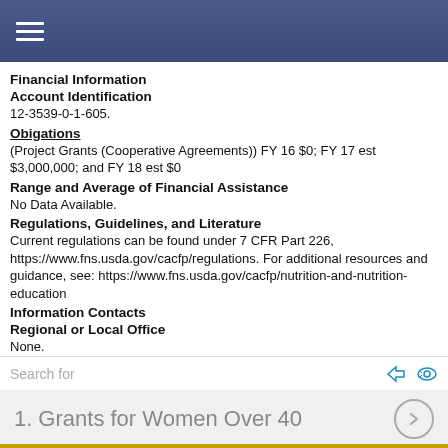≡ (navigation menu bar)
Financial Information
Account Identification
12-3539-0-1-605.
Obigations
(Project Grants (Cooperative Agreements)) FY 16 $0; FY 17 est $3,000,000; and FY 18 est $0
Range and Average of Financial Assistance
No Data Available.
Regulations, Guidelines, and Literature
Current regulations can be found under 7 CFR Part 226, https://www.fns.usda.gov/cacfp/regulations. For additional resources and guidance, see: https://www.fns.usda.gov/cacfp/nutrition-and-nutrition-education
Information Contacts
Regional or Local Office
None.
Headquarters Office
William B. Wagoner 3101 Park Center Drive, Alexandria, Virginia 22302
Email: william.wagoner@fns.usda.gov Phone: 7033052837